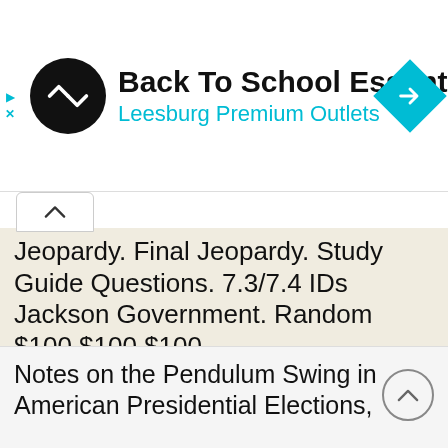[Figure (screenshot): Advertisement banner for Back To School Essentials at Leesburg Premium Outlets, with circular logo, navigation diamond icon, and ad controls]
Jeopardy. Final Jeopardy. Study Guide Questions. 7.3/7.4 IDs Jackson Government. Random $100 $100 $100
Jeopardy 7.3/7.4 IDs Jackson Government Study Guide Questions Random $100 $100 $100 $100 $100 $200 $200 $200 $200 $200 $300 $300 $300 $300 $300 $400 $400 $400 $400 $400 $500 $500 $500 $500 $500 Final Jeopardy
More information →
Notes on the Pendulum Swing in American Presidential Elections,